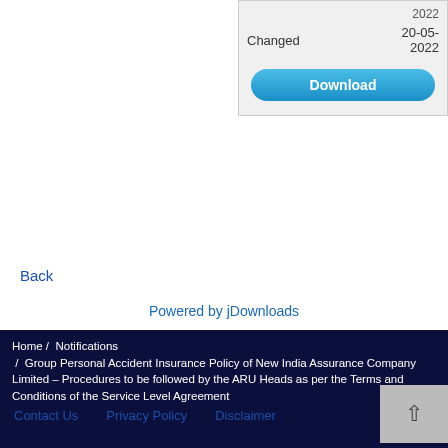| Changed | 20-05-2022 |
2022
Back
Powered by jDownloads
Home /  Notifications  /  Group Personal Accident Insurance Policy of New India Assurance Company Limited – Procedures to be followed by the ARU Heads as per the Terms and Conditions of the Service Level Agreement
Licensed Under CC BY-SA 2.5 IN. Maintained by Regional IT Unit,Kozhikode
Contact Us    Privacy Policy    Disclaimer